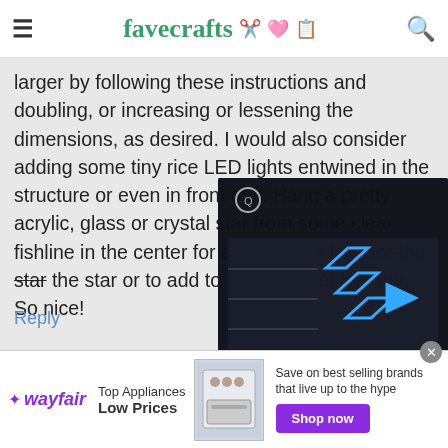favecrafts
larger by following these instructions and doubling, or increasing or lessening the dimensions, as desired. I would also consider adding some tiny rice LED lights entwined in the structure or even in front of it. Hang a pretty acrylic, glass or crystal star from some clear fishline in the center for an alternate look for the star or to add to the center of the star. So nice!
Reply
[Figure (screenshot): Video player overlay showing a darkened craft room with blue parallelogram play button icons and mute/unmute control]
SissieSa...
★★★★☆
[Figure (photo): User avatar showing craft supplies including scissors and colorful paper on teal background]
[Figure (infographic): Wayfair advertisement banner: Top Appliances Low Prices, Save on best selling brands that live up to the hype, Shop now button, stove image]